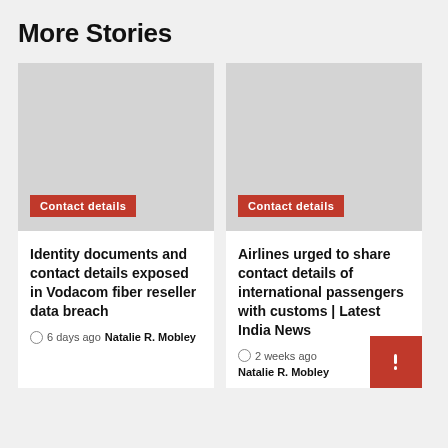More Stories
[Figure (photo): Gray placeholder image for article 1 with red 'Contact details' badge overlay]
Identity documents and contact details exposed in Vodacom fiber reseller data breach
6 days ago  Natalie R. Mobley
[Figure (photo): Gray placeholder image for article 2 with red 'Contact details' badge overlay]
Airlines urged to share contact details of international passengers with customs | Latest India News
2 weeks ago  Natalie R. Mobley